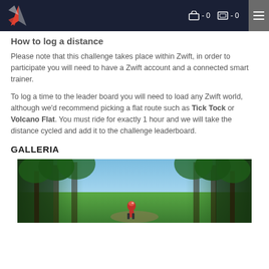navigation bar with logo, cart and favorites icons (both 0), and hamburger menu
How to log a distance
Please note that this challenge takes place within Zwift, in order to participate you will need to have a Zwift account and a connected smart trainer.
To log a time to the leader board you will need to load any Zwift world, although we'd recommend picking a flat route such as Tick Tock or Volcano Flat. You must ride for exactly 1 hour and we will take the distance cycled and add it to the challenge leaderboard.
GALLERIA
[Figure (photo): Zwift virtual cycling scene showing tall forest trees with a cyclist figure riding through, blue sky visible through the canopy]